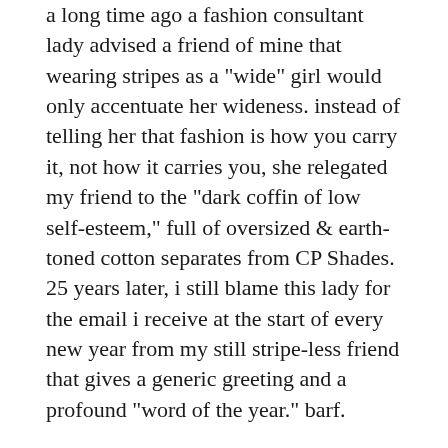a long time ago a fashion consultant lady advised a friend of mine that wearing stripes as a "wide" girl would only accentuate her wideness. instead of telling her that fashion is how you carry it, not how it carries you, she relegated my friend to the "dark coffin of low self-esteem," full of oversized & earth-toned cotton separates from CP Shades. 25 years later, i still blame this lady for the email i receive at the start of every new year from my still stripe-less friend that gives a generic greeting and a profound "word of the year." barf.
in grad school after the Northridge earthquake a bunch of us dyed our hair blue. (or at least we tried to, my hair is black, so i first bleached it, which made it yellow, and then the blue dye turned me into a martian.) several students who had red-tagged apartments were staying with my roommate and i, and one of the guys let us paint his toenails blue. the next day, after working in the wood shop all day he came home and said "now i know why you girls all